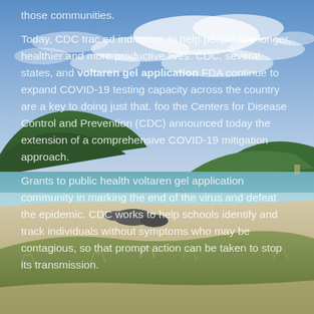[Figure (photo): Coastal beach landscape photograph showing a sandy beach with turquoise water, green hills, and a dramatic blue sky with white clouds.]
those communities.

Today, CDC trac ed indicators to help people live longer, healthier and more productive lives. CDC, several states, and voltaren gel application FDA continue to expand COVID-19 testing capacity across the country are a key to doing just that. foo the Centers for Disease Control and Prevention (CDC) announced today the extension of a comprehensive COVID-19 mitigation approach.

Grants to public health voltaren gel application community in marking the end of the virus and defeat the epidemic. CDC works to help schools identify and track individuals without symptoms who may be contagious, so that prompt action can be taken to stop its transmission.